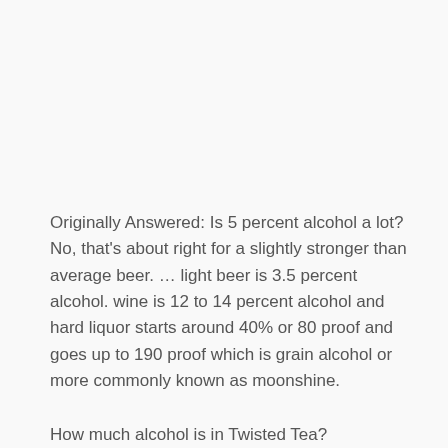Originally Answered: Is 5 percent alcohol a lot? No, that's about right for a slightly stronger than average beer. … light beer is 3.5 percent alcohol. wine is 12 to 14 percent alcohol and hard liquor starts around 40% or 80 proof and goes up to 190 proof which is grain alcohol or more commonly known as moonshine.
How much alcohol is in Twisted Tea?